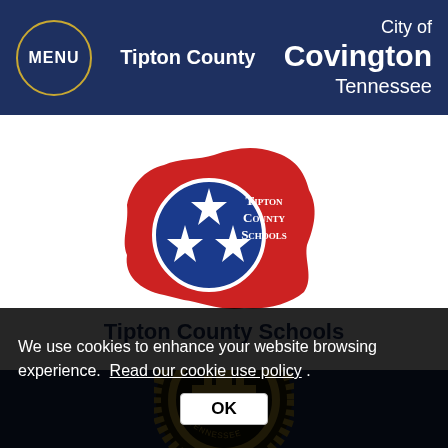MENU | Tipton County | City of Covington Tennessee
[Figure (logo): Tipton County Schools logo: red map shape of Tipton County with a blue circle containing three white stars, and text 'Tipton County Schools' in a serif font on the red shape]
Tipton County Schools
[Figure (logo): City of Covington seal: circular gold emblem with text 'CITY OF COVINGTON' and building/train imagery on dark navy background]
We use cookies to enhance your website browsing experience. Read our cookie use policy .
OK